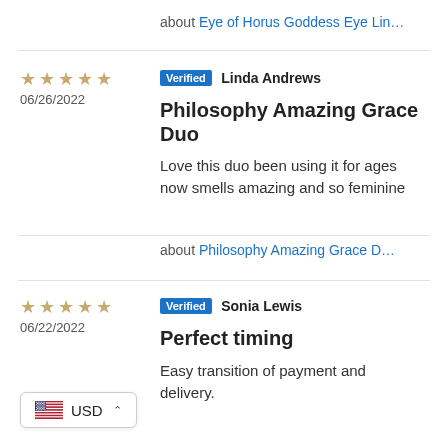about Eye of Horus Goddess Eye Lin…
Verified Linda Andrews
Philosophy Amazing Grace Duo
Love this duo been using it for ages now smells amazing and so feminine
about Philosophy Amazing Grace D…
Verified Sonia Lewis
Perfect timing
Easy transition of payment and delivery.
USD